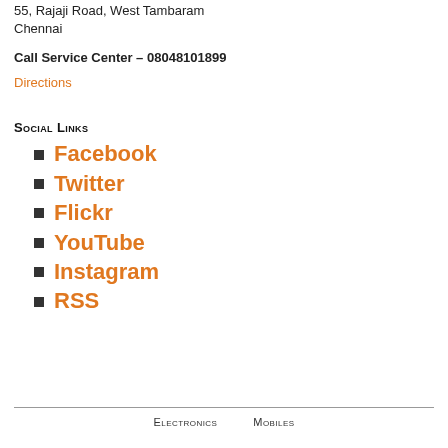55, Rajaji Road, West Tambaram
Chennai
Call Service Center – 08048101899
Directions
Social Links
Facebook
Twitter
Flickr
YouTube
Instagram
RSS
Electronics   Mobiles